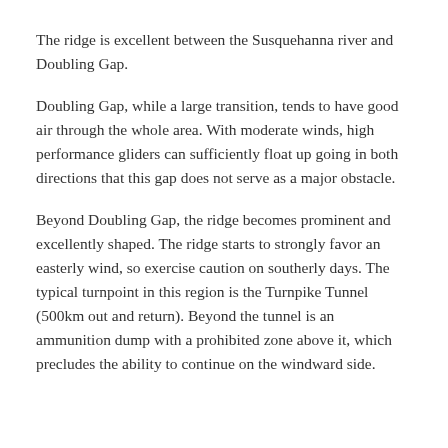The ridge is excellent between the Susquehanna river and Doubling Gap.
Doubling Gap, while a large transition, tends to have good air through the whole area. With moderate winds, high performance gliders can sufficiently float up going in both directions that this gap does not serve as a major obstacle.
Beyond Doubling Gap, the ridge becomes prominent and excellently shaped. The ridge starts to strongly favor an easterly wind, so exercise caution on southerly days. The typical turnpoint in this region is the Turnpike Tunnel (500km out and return). Beyond the tunnel is an ammunition dump with a prohibited zone above it, which precludes the ability to continue on the windward side.